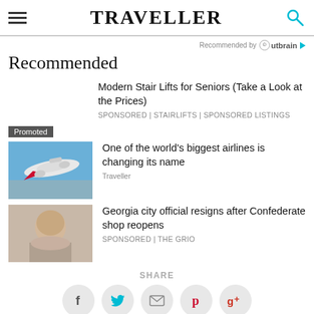TRAVELLER
Recommended by Outbrain
Recommended
Modern Stair Lifts for Seniors (Take a Look at the Prices)
SPONSORED | Stairlifts | Sponsored Listings
Promoted
[Figure (photo): Airplane taking off against blue sky]
One of the world's biggest airlines is changing its name
Traveller
[Figure (photo): Elderly man portrait]
Georgia city official resigns after Confederate shop reopens
SPONSORED | The Grio
SHARE